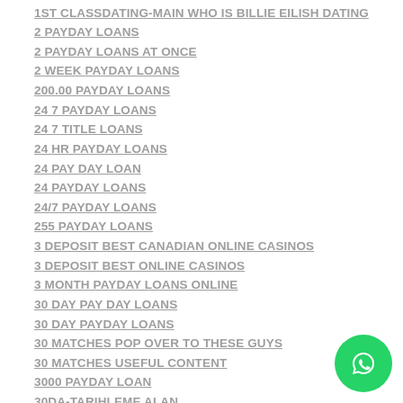1ST CLASSDATING-MAIN WHO IS BILLIE EILISH DATING
2 PAYDAY LOANS
2 PAYDAY LOANS AT ONCE
2 WEEK PAYDAY LOANS
200.00 PAYDAY LOANS
24 7 PAYDAY LOANS
24 7 TITLE LOANS
24 HR PAYDAY LOANS
24 PAY DAY LOAN
24 PAYDAY LOANS
24/7 PAYDAY LOANS
255 PAYDAY LOANS
3 DEPOSIT BEST CANADIAN ONLINE CASINOS
3 DEPOSIT BEST ONLINE CASINOS
3 MONTH PAYDAY LOANS ONLINE
30 DAY PAY DAY LOANS
30 DAY PAYDAY LOANS
30 MATCHES POP OVER TO THESE GUYS
30 MATCHES USEFUL CONTENT
3000 PAYDAY LOAN
30DA-TARIHLEME ALAN
321CHAT BURALARDA GEZIN